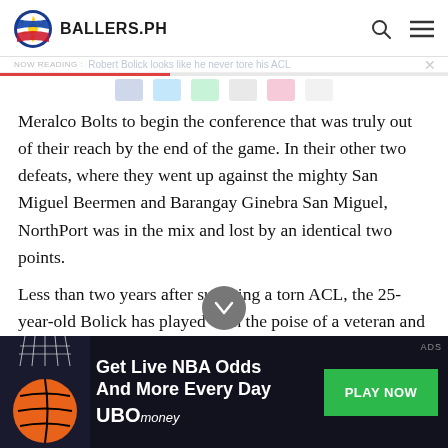BALLERS.PH
NOW READING: Robert Bolick looks like he never tore his ACL
Meralco Bolts to begin the conference that was truly out of their reach by the end of the game. In their other two defeats, where they went up against the mighty San Miguel Beermen and Barangay Ginebra San Miguel, NorthPort was in the mix and lost by an identical two points.
Less than two years after suffering a torn ACL, the 25-year-old Bolick has played with the poise of a veteran and averaged 18 points, 7.6 rebounds, and 6.2 assists in five Philippine Cup games.
[Figure (infographic): Advertisement banner for UBOmoney showing 'Get Live NBA Odds And More Every Day' with a PLAY NOW button and basketball imagery]